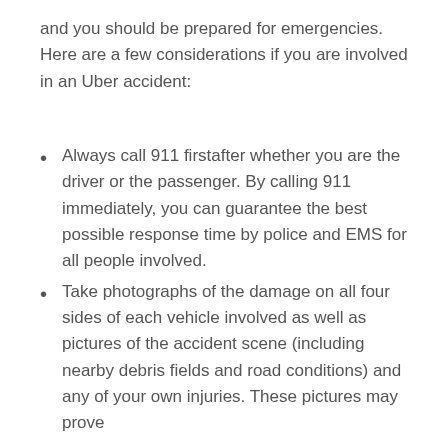and you should be prepared for emergencies.  Here are a few considerations if you are involved in an Uber accident:
Always call 911 firstafter whether you are the driver or the passenger. By calling 911 immediately, you can guarantee the best possible response time by police and EMS for all people involved.
Take photographs of the damage on all four sides of each vehicle involved as well as pictures of the accident scene (including nearby debris fields and road conditions) and any of your own injuries. These pictures may prove